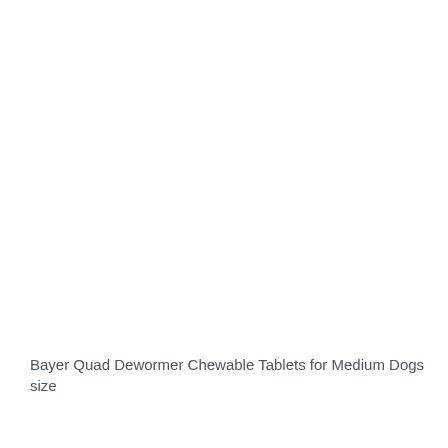Bayer Quad Dewormer Chewable Tablets for Medium Dogs size